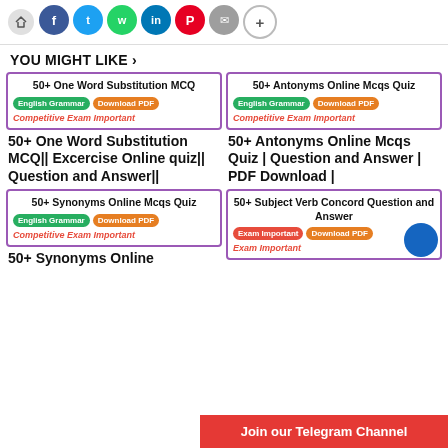[Figure (infographic): Social media share icons: share arrow, Facebook, Twitter, WhatsApp, LinkedIn, Pinterest, Email, Plus]
YOU MIGHT LIKE >
[Figure (screenshot): Card: 50+ One Word Substitution MCQ with English Grammar and Download PDF tags, Competitive Exam Important]
50+ One Word Substitution MCQ|| Excercise Online quiz|| Question and Answer||
[Figure (screenshot): Card: 50+ Antonyms Online Mcqs Quiz with English Grammar and Download PDF tags, Competitive Exam Important]
50+ Antonyms Online Mcqs Quiz | Question and Answer | PDF Download |
[Figure (screenshot): Card: 50+ Synonyms Online Mcqs Quiz with English Grammar and Download PDF tags, Competitive Exam Important]
50+ Synonyms Online
[Figure (screenshot): Card: 50+ Subject Verb Concord Question and Answer with Exam Important and Download PDF tags, Exam Important]
Join our Telegram Channel